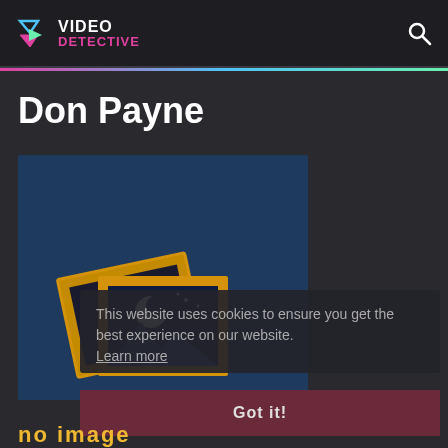VIDEO DETECTIVE
Don Payne
[Figure (screenshot): Blue card area with no image placeholder showing stacked photo frames icon with moon/mountain night scene]
This website uses cookies to ensure you get the best experience on our website. Learn more
Got it!
no image